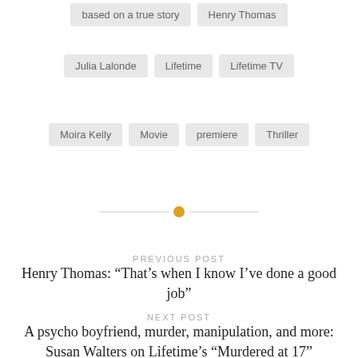based on a true story
Henry Thomas
Julia Lalonde
Lifetime
Lifetime TV
Moira Kelly
Movie
premiere
Thriller
PREVIOUS POST
Henry Thomas: “That’s when I know I’ve done a good job”
NEXT POST
A psycho boyfriend, murder, manipulation, and more: Susan Walters on Lifetime’s “Murdered at 17”